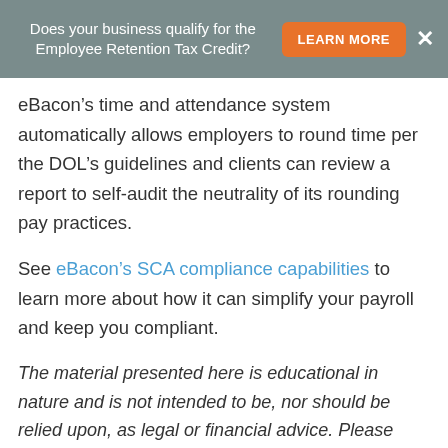Does your business qualify for the Employee Retention Tax Credit? LEARN MORE ×
eBacon's time and attendance system automatically allows employers to round time per the DOL's guidelines and clients can review a report to self-audit the neutrality of its rounding pay practices.
See eBacon's SCA compliance capabilities to learn more about how it can simplify your payroll and keep you compliant.
The material presented here is educational in nature and is not intended to be, nor should be relied upon, as legal or financial advice. Please